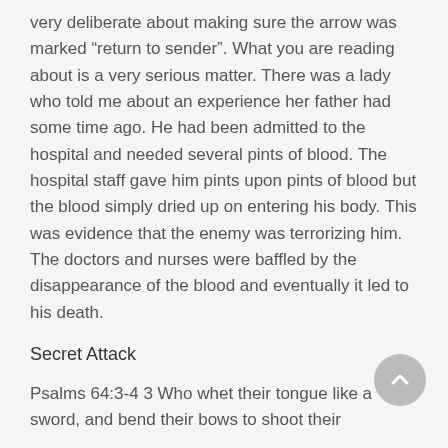very deliberate about making sure the arrow was marked “return to sender”. What you are reading about is a very serious matter. There was a lady who told me about an experience her father had some time ago. He had been admitted to the hospital and needed several pints of blood. The hospital staff gave him pints upon pints of blood but the blood simply dried up on entering his body. This was evidence that the enemy was terrorizing him. The doctors and nurses were baffled by the disappearance of the blood and eventually it led to his death.
Secret Attack
Psalms 64:3-4 3 Who whet their tongue like a sword, and bend their bows to shoot their